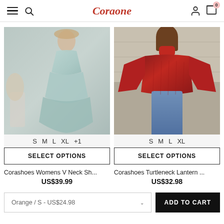Coraone — navigation header with hamburger menu, search, user icon, cart (0)
[Figure (photo): Woman wearing a light blue/mint V-neck short-sleeve midi dress with tiered skirt, standing against a gray background with dried pampas grass]
S  M  L  XL  +1
SELECT OPTIONS
[Figure (photo): Woman wearing a red turtleneck lantern-sleeve sweater with jeans, photographed against a stone/brick background]
S  M  L  XL
SELECT OPTIONS
Corashoes Womens V Neck Sh...
US$39.99
Corashoes Turtleneck Lantern ...
US$32.98
Orange / S - US$24.98
ADD TO CART